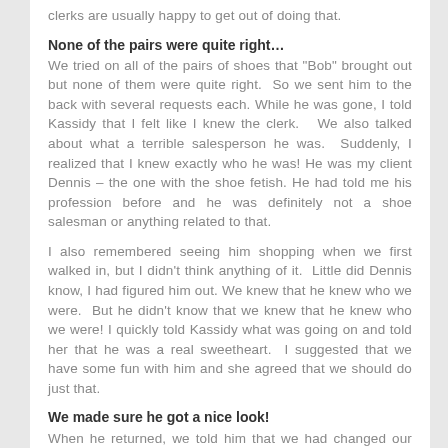clerks are usually happy to get out of doing that.
None of the pairs were quite right…
We tried on all of the pairs of shoes that "Bob" brought out but none of them were quite right.  So we sent him to the back with several requests each. While he was gone, I told Kassidy that I felt like I knew the clerk.   We also talked about what a terrible salesperson he was.  Suddenly, I realized that I knew exactly who he was! He was my client Dennis – the one with the shoe fetish. He had told me his profession before and he was definitely not a shoe salesman or anything related to that.
I also remembered seeing him shopping when we first walked in, but I didn't think anything of it.  Little did Dennis know, I had figured him out. We knew that he knew who we were.  But he didn't know that we knew that he knew who we were! I quickly told Kassidy what was going on and told her that he was a real sweetheart.  I suggested that we have some fun with him and she agreed that we should do just that.
We made sure he got a nice look!
When he returned, we told him that we had changed our minds.  We had decided that we wanted him to put the shoes on us, one at a time.  We were both wearing short skirts and lacy thong panties, so he should have a nice view. As he knelt